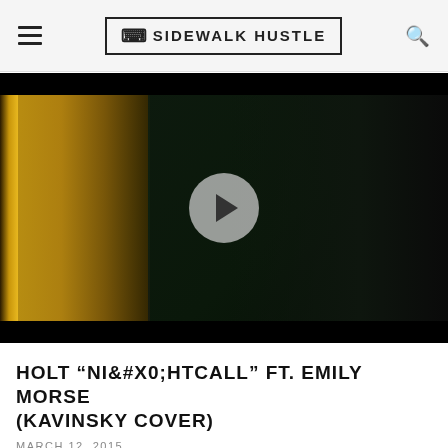SIDEWALK HUSTLE
[Figure (screenshot): Video thumbnail showing two people in a dark green-toned room with a golden door frame on the left. A semi-transparent play button is centered over the image. Black letterbox bars at top and bottom.]
HOLT “NIGHTCALL” FT. EMILY MORSE (KAVINSKY COVER)
MARCH 12, 2015